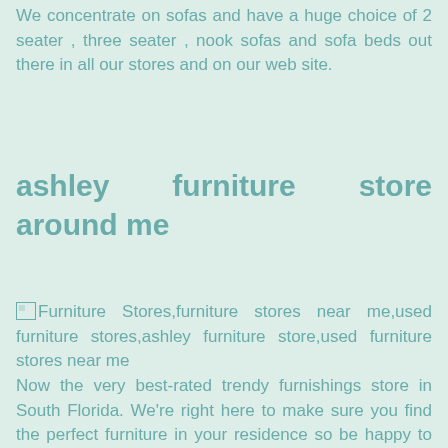We concentrate on sofas and have a huge choice of 2 seater , three seater , nook sofas and sofa beds out there in all our stores and on our web site.
ashley furniture store around me
Furniture Stores,furniture stores near me,used furniture stores,ashley furniture store,used furniture stores near me
Now the very best-rated trendy furnishings store in South Florida. We're right here to make sure you find the perfect furniture in your residence so be happy to contact one of our